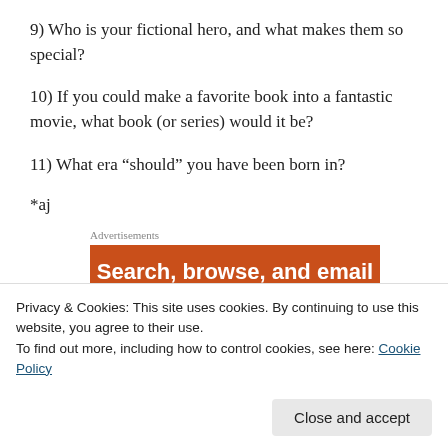9) Who is your fictional hero, and what makes them so special?
10) If you could make a favorite book into a fantastic movie, what book (or series) would it be?
11) What era “should” you have been born in?
*aj
Advertisements
[Figure (other): Orange advertisement banner with white bold text: Search, browse, and email]
Privacy & Cookies: This site uses cookies. By continuing to use this website, you agree to their use.
To find out more, including how to control cookies, see here: Cookie Policy
Close and accept